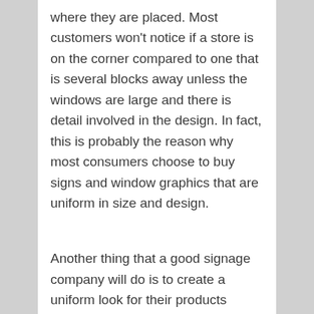where they are placed. Most customers won't notice if a store is on the corner compared to one that is several blocks away unless the windows are large and there is detail involved in the design. In fact, this is probably the reason why most consumers choose to buy signs and window graphics that are uniform in size and design.
Another thing that a good signage company will do is to create a uniform look for their products regardless of whether it is for storefronts or advertising billboards. For example, glass signs